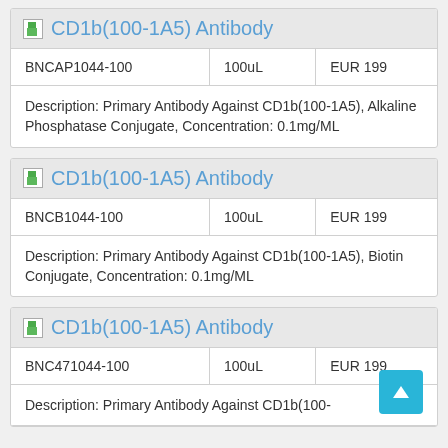| Product | Volume | Price |
| --- | --- | --- |
| CD1b(100-1A5) Antibody |  |  |
| BNCAP1044-100 | 100uL | EUR 199 |
| Description: Primary Antibody Against CD1b(100-1A5), Alkaline Phosphatase Conjugate, Concentration: 0.1mg/ML |  |  |
| Product | Volume | Price |
| --- | --- | --- |
| CD1b(100-1A5) Antibody |  |  |
| BNCB1044-100 | 100uL | EUR 199 |
| Description: Primary Antibody Against CD1b(100-1A5), Biotin Conjugate, Concentration: 0.1mg/ML |  |  |
| Product | Volume | Price |
| --- | --- | --- |
| CD1b(100-1A5) Antibody |  |  |
| BNC471044-100 | 100uL | EUR 199 |
| Description: Primary Antibody Against CD1b(100- |  |  |